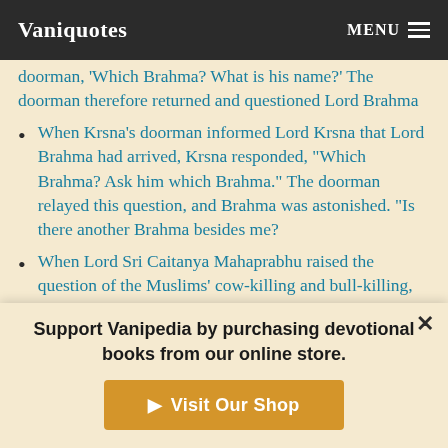Vaniquotes | MENU
doorman, 'Which Brahma? What is his name?' The doorman therefore returned and questioned Lord Brahma
When Krsna's doorman informed Lord Krsna that Lord Brahma had arrived, Krsna responded, "Which Brahma? Ask him which Brahma." The doorman relayed this question, and Brahma was astonished. "Is there another Brahma besides me?
When Lord Sri Caitanya Mahaprabhu raised the question of the Muslims' cow-killing and bull-killing, Chand Kazi came to the standard of understanding from his scriptures
When Narada Muni questioned Lord Brahma about the
Support Vanipedia by purchasing devotional books from our online store.
Visit Our Shop